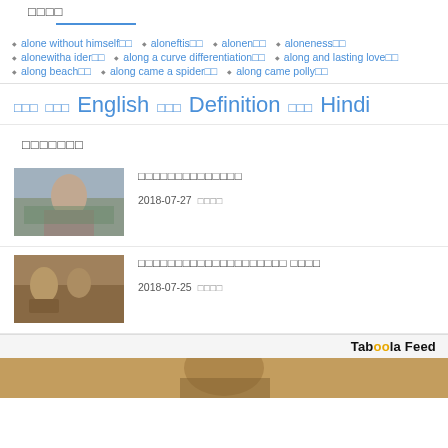□□□□
alone without himself□□ • aloneftis□□ • alonen□□ • aloneness□□
alonewitha ider□□ • along a curve differentiation□□ • along and lasting love□□
along beach□□ • along came a spider□□ • along came polly□□
□□□ □□□ English □□□ Definition □□□ Hindi
□□□□□□□
□□□□□□□□□□□□□□
2018-07-27  □□□□
□□□□□□□□□□□□□□□□□□□□ □□□□
2018-07-25  □□□□
Taboola Feed